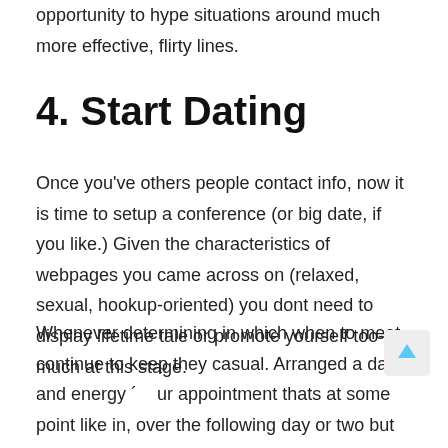opportunity to hype situations around much more effective, flirty lines.
4. Start Dating
Once you've others people contact info, now it is time to setup a conference (or big date, if you like.) Given the characteristics of webpages you came across on (relaxed, sexual, hookup-oriented) you dont need to display lifetime tale or promote yourself too-much at this stage.
Whenever determining in which when to meet, continue to keep they casual. Arranged a date and energy ´ ur appointment thats at some point like in, over the following day or two but dont get also stuck on the facts.